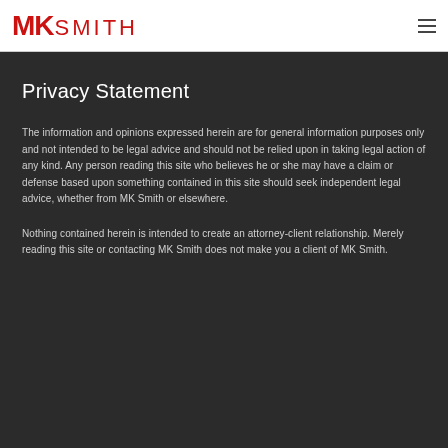MK SMITH
Privacy Statement
The information and opinions expressed herein are for general information purposes only and not intended to be legal advice and should not be relied upon in taking legal action of any kind. Any person reading this site who believes he or she may have a claim or defense based upon something contained in this site should seek independent legal advice, whether from MK Smith or elsewhere.
Nothing contained herein is intended to create an attorney-client relationship. Merely reading this site or contacting MK Smith does not make you a client of MK Smith.